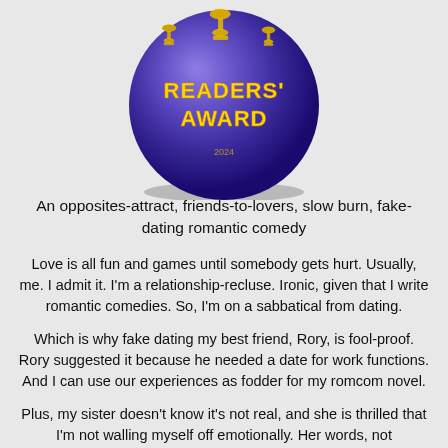[Figure (illustration): A purple/blue sphere award badge with gold text reading READERS' AWARD, with decorative gold trophy/award graphics on top]
An opposites-attract, friends-to-lovers, slow burn, fake-dating romantic comedy
Love is all fun and games until somebody gets hurt. Usually, me. I admit it. I'm a relationship-recluse. Ironic, given that I write romantic comedies. So, I'm on a sabbatical from dating.
Which is why fake dating my best friend, Rory, is fool-proof. Rory suggested it because he needed a date for work functions. And I can use our experiences as fodder for my romcom novel.
Plus, my sister doesn't know it's not real, and she is thrilled that I'm not walling myself off emotionally. Her words, not mine. But let's just say I'm not correcting the assumption.